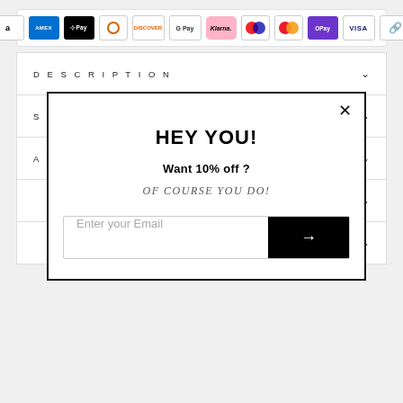[Figure (infographic): Row of payment method icons: Amazon, Amex, Apple Pay, Diners Club, Discover, Google Pay, Klarna, Maestro, Mastercard, OPay, Visa, Link]
DESCRIPTION
SHIPPING INFORMATION
ASK A QUESTION
HEY YOU!
Want 10% off ?
OF COURSE YOU DO!
Enter your Email